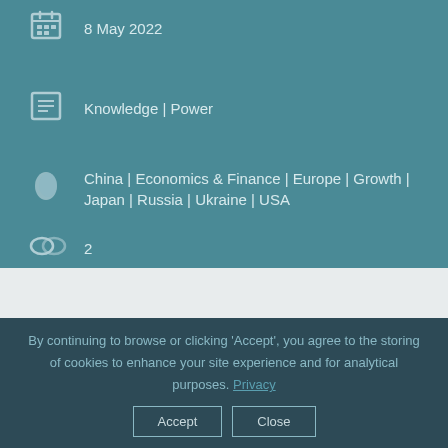8 May 2022
Knowledge | Power
China | Economics & Finance | Europe | Growth | Japan | Russia | Ukraine | USA
2
By continuing to browse or clicking ‘Accept’, you agree to the storing of cookies to enhance your site experience and for analytical purposes. Privacy
Accept
Close